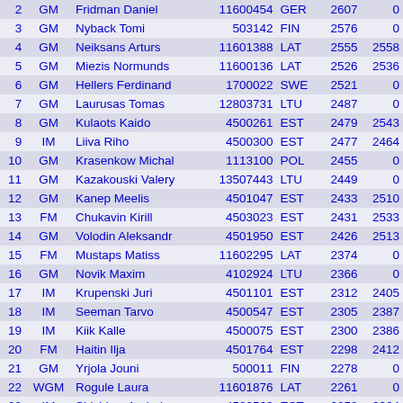| # | Title | Name | ID | Fed | Elo | K |
| --- | --- | --- | --- | --- | --- | --- |
| 2 | GM | Fridman Daniel | 11600454 | GER | 2607 | 0 |
| 3 | GM | Nyback Tomi | 503142 | FIN | 2576 | 0 |
| 4 | GM | Neiksans Arturs | 11601388 | LAT | 2555 | 2558 |
| 5 | GM | Miezis Normunds | 11600136 | LAT | 2526 | 2536 |
| 6 | GM | Hellers Ferdinand | 1700022 | SWE | 2521 | 0 |
| 7 | GM | Laurusas Tomas | 12803731 | LTU | 2487 | 0 |
| 8 | GM | Kulaots Kaido | 4500261 | EST | 2479 | 2543 |
| 9 | IM | Liiva Riho | 4500300 | EST | 2477 | 2464 |
| 10 | GM | Krasenkow Michal | 1113100 | POL | 2455 | 0 |
| 11 | GM | Kazakouski Valery | 13507443 | LTU | 2449 | 0 |
| 12 | GM | Kanep Meelis | 4501047 | EST | 2433 | 2510 |
| 13 | FM | Chukavin Kirill | 4503023 | EST | 2431 | 2533 |
| 14 | GM | Volodin Aleksandr | 4501950 | EST | 2426 | 2513 |
| 15 | FM | Mustaps Matiss | 11602295 | LAT | 2374 | 0 |
| 16 | GM | Novik Maxim | 4102924 | LTU | 2366 | 0 |
| 17 | IM | Krupenski Juri | 4501101 | EST | 2312 | 2405 |
| 18 | IM | Seeman Tarvo | 4500547 | EST | 2305 | 2387 |
| 19 | IM | Kiik Kalle | 4500075 | EST | 2300 | 2386 |
| 20 | FM | Haitin Ilja | 4501764 | EST | 2298 | 2412 |
| 21 | GM | Yrjola Jouni | 500011 | FIN | 2278 | 0 |
| 22 | WGM | Rogule Laura | 11601876 | LAT | 2261 | 0 |
| 23 | IM | Shishkov Andrei | 4500563 | EST | 2258 | 2364 |
| 24 | IM | Osmak Yuliia | 14101602 | UKR | 2250 | 0 |
| 25 |  | Kukk Sander | 4502094 | EST | 2234 | 2331 |